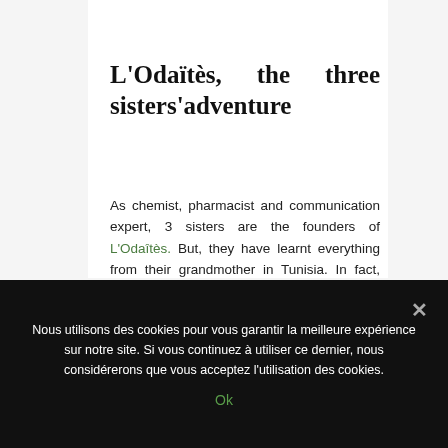L'Odaïtès, the three sisters'adventure
As chemist, pharmacist and communication expert, 3 sisters are the founders of L'Odaîtès. But, they have learnt everything from their grandmother in Tunisia. In fact, being introduced by her
Nous utilisons des cookies pour vous garantir la meilleure expérience sur notre site. Si vous continuez à utiliser ce dernier, nous considérerons que vous acceptez l'utilisation des cookies.
Ok